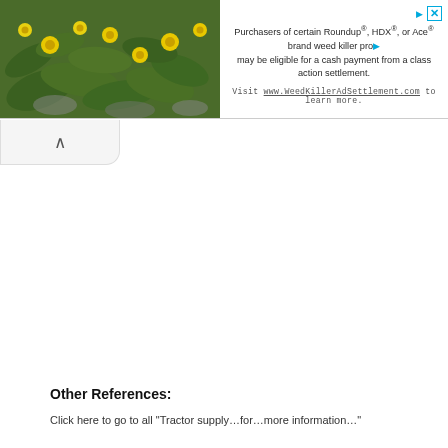[Figure (other): Advertisement banner with a photo of yellow flowers on green leaves on the left, and text about a class action settlement for Roundup, HDX, or Ace brand weed killers on the right.]
Purchasers of certain Roundup®, HDX®, or Ace® brand weed killer pro... may be eligible for a cash payment from a class action settlement. Visit www.WeedKillerAdSettlement.com to learn more.
Other References:
Click here to go to...